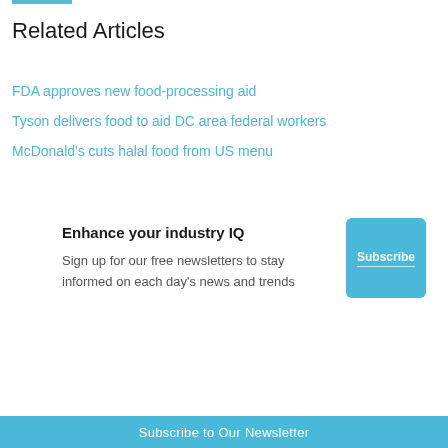Related Articles
FDA approves new food-processing aid
Tyson delivers food to aid DC area federal workers
McDonald's cuts halal food from US menu
Enhance your industry IQ
Sign up for our free newsletters to stay informed on each day's news and trends
Subscribe to Our Newsletter